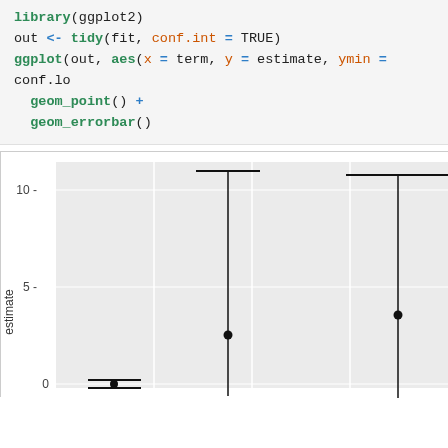library(ggplot2)
out <- tidy(fit, conf.int = TRUE)
ggplot(out, aes(x = term, y = estimate, ymin = conf.lo
  geom_point() +
  geom_errorbar()
[Figure (continuous-plot): ggplot2 error bar chart showing estimate values with confidence intervals for multiple terms. Y-axis labeled 'estimate' with values 0, 5, 10. Points visible near 0 (estimate ~0), ~2.5, and ~3.5, with error bars extending up to ~10.5+.]